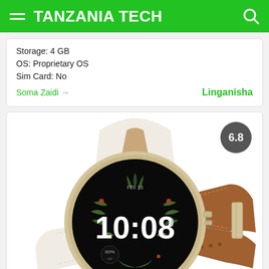TANZANIA TECH
Storage: 4 GB
OS: Proprietary OS
Sim Card: No
Soma Zaidi →
Linganisha
[Figure (photo): Smartwatch with gold/cream case and brown leather strap, showing 10:08 on a dark floral watch face. Rating badge showing 6.8 in top right corner.]